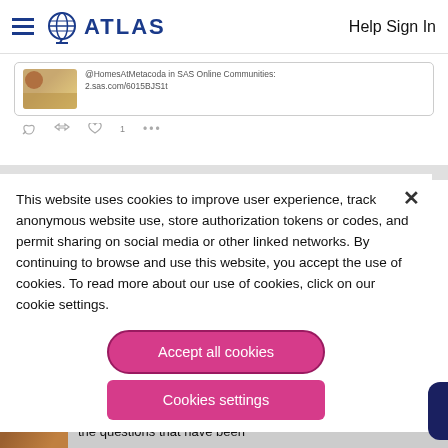ATLAS   Help Sign In
[Figure (screenshot): Tweet card showing @HomesAtMetacoda in SAS Online Communities: 2.sas.com/6015BJS1t with reply, retweet, like (1), and more actions]
This website uses cookies to improve user experience, track anonymous website use, store authorization tokens or codes, and permit sharing on social media or other linked networks. By continuing to browse and use this website, you accept the use of cookies. To read more about our use of cookies, click on our cookie settings.
Accept all cookies
Cookies settings
[Figure (photo): Bottom strip showing partial photo and text: the questions that have been]